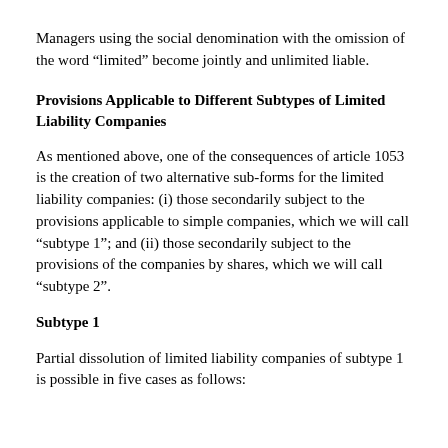Managers using the social denomination with the omission of the word “limited” become jointly and unlimited liable.
Provisions Applicable to Different Subtypes of Limited Liability Companies
As mentioned above, one of the consequences of article 1053 is the creation of two alternative sub-forms for the limited liability companies: (i) those secondarily subject to the provisions applicable to simple companies, which we will call “subtype 1”; and (ii) those secondarily subject to the provisions of the companies by shares, which we will call “subtype 2”.
Subtype 1
Partial dissolution of limited liability companies of subtype 1 is possible in five cases as follows: